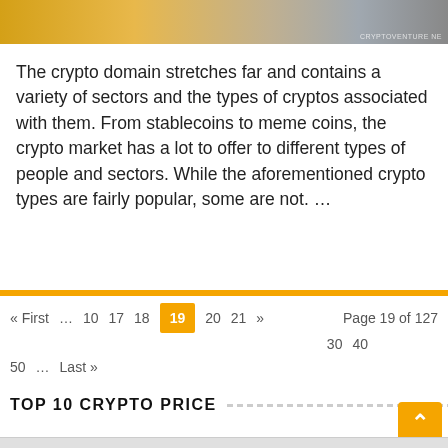[Figure (photo): Cropped banner image showing crypto coins and a person in background, with watermark 'CRYPTOVENTURE NE']
The crypto domain stretches far and contains a variety of sectors and the types of cryptos associated with them. From stablecoins to meme coins, the crypto market has a lot to offer to different types of people and sectors. While the aforementioned crypto types are fairly popular, some are not. …
« First … 10 17 18 19 20 21 » Page 19 of 127 30 40 50 … Last »
TOP 10 CRYPTO PRICE